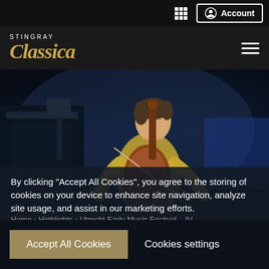Account
[Figure (screenshot): Stingray Classica website header with logo and hamburger menu on dark background]
[Figure (photo): Young male cellist in yellow shirt playing cello on a dim stage with a piano in the background]
By clicking “Accept All Cookies”, you agree to the storing of cookies on your device to enhance site navigation, analyze site usage, and assist in our marketing efforts.
Home > Highlights > Utrecht Early Music Festival – IV
Accept All Cookies
Cookies settings
UTRECHT EARLY